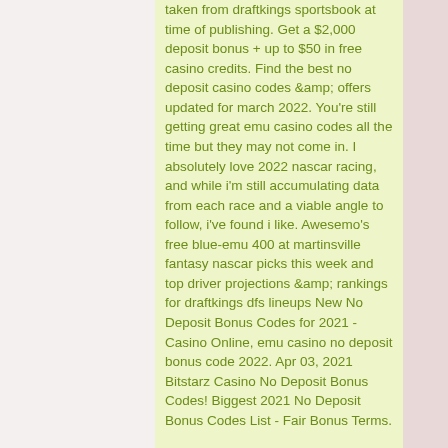taken from draftkings sportsbook at time of publishing. Get a $2,000 deposit bonus + up to $50 in free casino credits. Find the best no deposit casino codes &amp; offers updated for march 2022. You're still getting great emu casino codes all the time but they may not come in. I absolutely love 2022 nascar racing, and while i'm still accumulating data from each race and a viable angle to follow, i've found i like. Awesemo's free blue-emu 400 at martinsville fantasy nascar picks this week and top driver projections &amp; rankings for draftkings dfs lineups New No Deposit Bonus Codes for 2021 - Casino Online, emu casino no deposit bonus code 2022. Apr 03, 2021 Bitstarz Casino No Deposit Bonus Codes! Biggest 2021 No Deposit Bonus Codes List - Fair Bonus Terms.
BTC casino winners:
EggOMatic - 576.3 btc